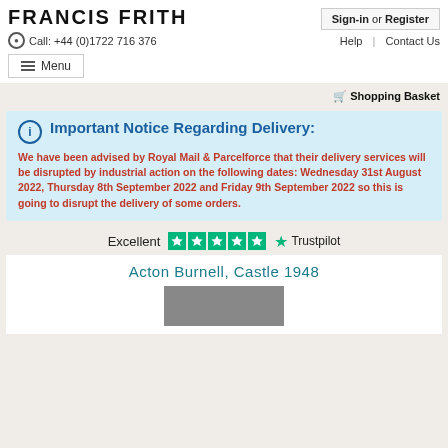FRANCIS FRITH
Sign-in or Register
Call: +44 (0)1722 716 376
Help | Contact Us
≡ Menu
🛒 Shopping Basket
ℹ Important Notice Regarding Delivery:
We have been advised by Royal Mail & Parcelforce that their delivery services will be disrupted by industrial action on the following dates: Wednesday 31st August 2022, Thursday 8th September 2022 and Friday 9th September 2022 so this is going to disrupt the delivery of some orders.
Excellent ★★★★★ Trustpilot
Acton Burnell, Castle 1948